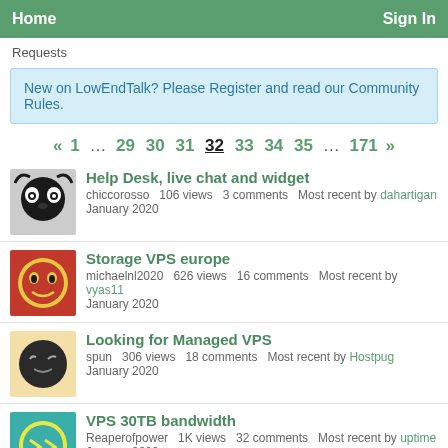Home   Sign In
Requests
New on LowEndTalk? Please Register and read our Community Rules.
« 1 … 29 30 31 32 33 34 35 … 171 »
Help Desk, live chat and widget
chiccorosso   106 views   3 comments   Most recent by dahartigan   January 2020
Storage VPS europe
michaelnl2020   626 views   16 comments   Most recent by vyas11   January 2020
Looking for Managed VPS
spun   306 views   18 comments   Most recent by Hostpug   January 2020
VPS 30TB bandwidth
Reaperofpower   1K views   32 comments   Most recent by uptime   January 2020
AMD Ryzen or Intel Gold KVM request, please